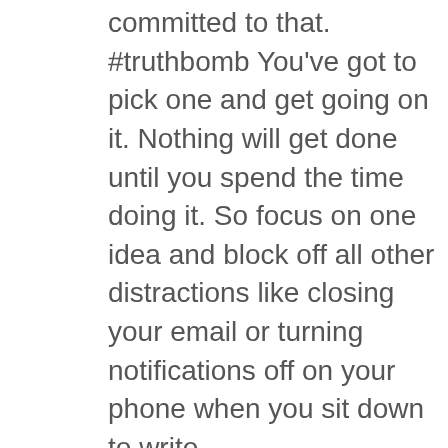committed to that. #truthbomb You've got to pick one and get going on it. Nothing will get done until you spend the time doing it. So focus on one idea and block off all other distractions like closing your email or turning notifications off on your phone when you sit down to write.
I think this is the strategy that is the hardest to implement. It can be really hard to buckle down and focus on one thing at a time. But it is a strategy that will allow you to get more done in general. Productivity experts suggest mono-tasking instead of multi-tasking. This is because the amount of time you loose while your brain moves from one idea to the next. Even if we feel like we can get up to speed on what we were working on after a quick email check it on average